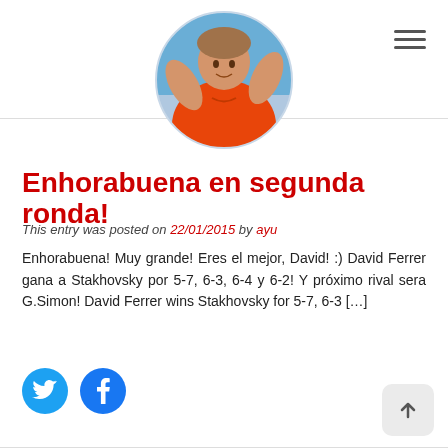[Figure (photo): Circular profile photo of David Ferrer, a tennis player wearing an orange polo shirt, arms raised, with a blue sky background.]
Enhorabuena en segunda ronda!
This entry was posted on 22/01/2015 by ayu
Enhorabuena! Muy grande! Eres el mejor, David! :) David Ferrer gana a Stakhovsky por 5-7, 6-3, 6-4 y 6-2! Y próximo rival sera G.Simon! David Ferrer wins Stakhovsky for 5-7, 6-3 […]
[Figure (illustration): Twitter and Facebook social share buttons (circular icons in cyan and blue respectively).]